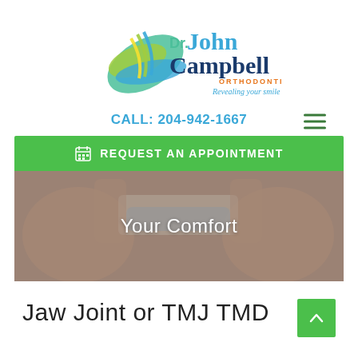[Figure (logo): Dr. John Campbell Orthodontist — Revealing your smile logo with teal/blue/green swoosh graphic]
CALL: 204-942-1667
REQUEST AN APPOINTMENT
[Figure (photo): Person holding clear dental retainer/aligner up to their teeth, close-up photo with overlay text 'Your Comfort']
Jaw Joint or TMJ TMD